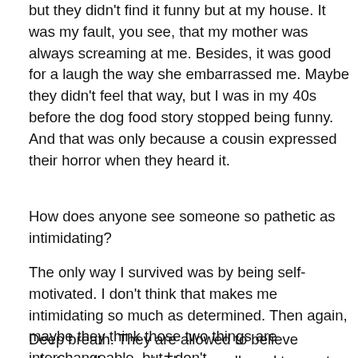but they didn't find it funny but at my house. It was my fault, you see, that my mother was always screaming at me. Besides, it was good for a laugh the way she embarrassed me. Maybe they didn't feel that way, but I was in my 40s before the dog food story stopped being funny. And that was only because a cousin expressed their horror when they heard it.
How does anyone see someone so pathetic as intimidating?
The only way I survived was by being self-motivated. I don't think that makes me intimidating so much as determined. Then again, maybe they think those two things are interchangeable, but I don't.
Deep breath. They are allowed to believe whatever they want. They are allowed to create any definitions they want.